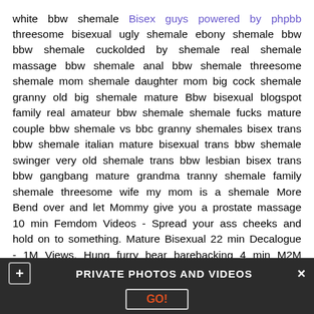white bbw shemale Bisex guys powered by phpbb threesome bisexual ugly shemale ebony shemale bbw bbw shemale cuckolded by shemale real shemale massage bbw shemale anal bbw shemale threesome shemale mom shemale daughter mom big cock shemale granny old big shemale mature Bbw bisexual blogspot family real amateur bbw shemale shemale fucks mature couple bbw shemale vs bbc granny shemales bisex trans bbw shemale italian mature bisexual trans bbw shemale swinger very old shemale trans bbw lesbian bisex trans bbw gangbang mature grandma tranny shemale family shemale threesome wife my mom is a shemale More Bend over and let Mommy give you a prostate massage 10 min Femdom Videos - Spread your ass cheeks and hold on to something. Mature Bisexual 22 min Decalogue - 1M Views. Hung furry bear barebacking 4 min M2M Club - 1. Kinky three genders threesome. Pink sissy analgasm.Young daughter' s boyfriend is set to fuck this mommy in the mouth and over her tits
[Figure (screenshot): Dark banner overlay at bottom of page with a plus icon button on the left, text 'PRIVATE PHOTOS AND VIDEOS' in the center, an X close button on the right, and a 'GO!' button below.]